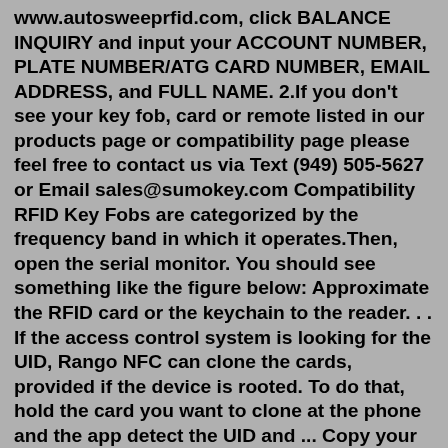www.autosweeprfid.com, click BALANCE INQUIRY and input your ACCOUNT NUMBER, PLATE NUMBER/ATG CARD NUMBER, EMAIL ADDRESS, and FULL NAME. 2.If you don't see your key fob, card or remote listed in our products page or compatibility page please feel free to contact us via Text (949) 505-5627 or Email sales@sumokey.com Compatibility RFID Key Fobs are categorized by the frequency band in which it operates.Then, open the serial monitor. You should see something like the figure below: Approximate the RFID card or the keychain to the reader. . . If the access control system is looking for the UID, Rango NFC can clone the cards, provided if the device is rooted. To do that, hold the card you want to clone at the phone and the app detect the UID and ... Copy your key fob in 4 easy steps. Step 1 – You need to determine it's format being used by examining your key fob. Step 2 – Decide which key copying option is best for you. Options are based on your keys format. Often simply